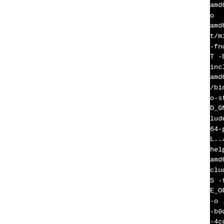[Figure (screenshot): Terminal/build log output showing compiler commands for amd64-pld-linux build system, including gcc and libtool invocations with various flags and paths.]